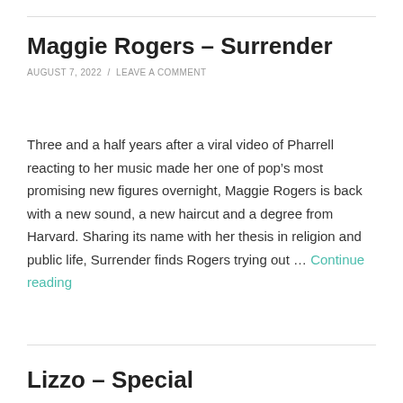Maggie Rogers – Surrender
AUGUST 7, 2022  /  LEAVE A COMMENT
Three and a half years after a viral video of Pharrell reacting to her music made her one of pop's most promising new figures overnight, Maggie Rogers is back with a new sound, a new haircut and a degree from Harvard. Sharing its name with her thesis in religion and public life, Surrender finds Rogers trying out … Continue reading
Lizzo – Special